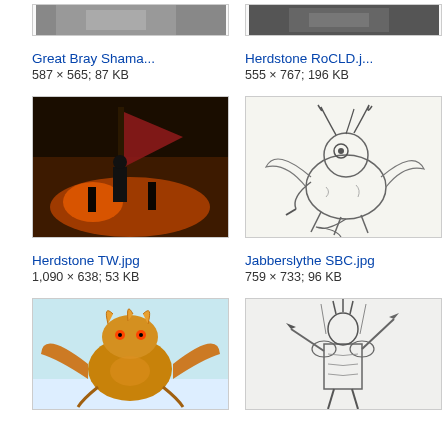[Figure (screenshot): Partial top of image thumbnail for Great Bray Shama...]
[Figure (screenshot): Partial top of image thumbnail for Herdstone RoCLD.j...]
Great Bray Shama...
587 × 565; 87 KB
Herdstone RoCLD.j...
555 × 767; 196 KB
[Figure (illustration): Fantasy ship scene with red flag and figures - Herdstone TW.jpg]
[Figure (illustration): Line art of a beast creature - Jabberslythe SBC.jpg]
Herdstone TW.jpg
1,090 × 638; 53 KB
Jabberslythe SBC.jpg
759 × 733; 96 KB
[Figure (illustration): Fantasy dragon creature thumbnail (partial)]
[Figure (illustration): Sketch of an armored warrior with weapons (partial)]